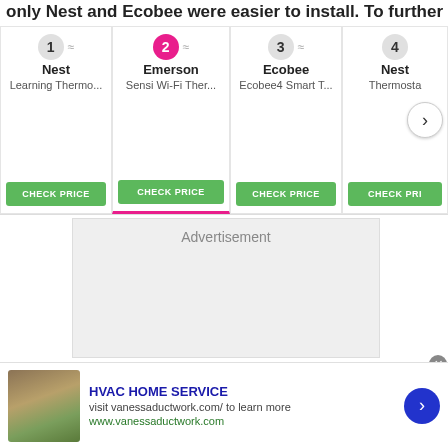only Nest and Ecobee were easier to install. To further
[Figure (screenshot): Product carousel showing ranked thermostats: 1 Nest Learning Thermostat, 2 Emerson Sensi Wi-Fi Thermostat (active/selected), 3 Ecobee Ecobee4 Smart Thermostat, 4 Nest Thermostat (partial). Each has a CHECK PRICE button. A navigation arrow is visible on the right.]
[Figure (other): Advertisement placeholder box with text 'Advertisement']
[Figure (other): Ad banner at bottom: HVAC HOME SERVICE, visit vanessaductwork.com/ to learn more, www.vanessaductwork.com, with thumbnail image and blue arrow button]